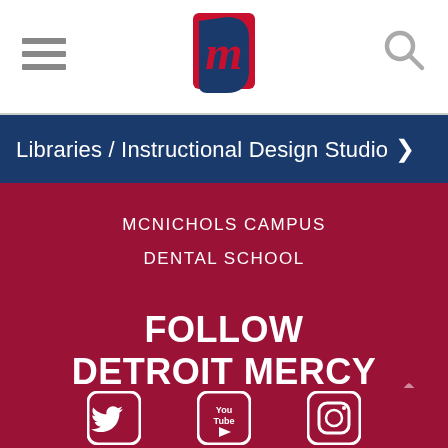[Figure (logo): Detroit Mercy university logo - stylized letter M with D in red and navy]
[Figure (other): Hamburger menu icon (three horizontal lines) and search magnifying glass icon]
Libraries / Instructional Design Studio >
MCNICHOLS CAMPUS
DENTAL SCHOOL
FOLLOW DETROIT MERCY LIBRARIES /
[Figure (other): Social media icons: Twitter bird, YouTube play button, Instagram camera]